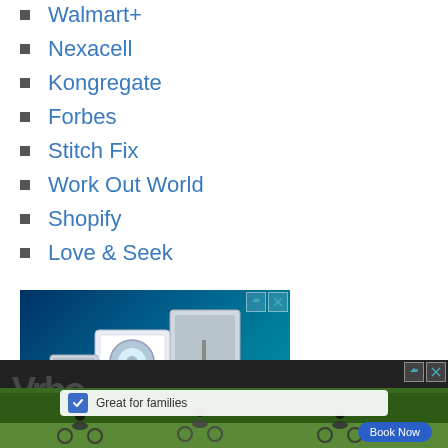Walmart+
Nexacell
Kongregate
Forbes
Stitch Fix
Work Out World
Shopify
Love & Seek
[Figure (photo): Advertisement showing home appliances including a refrigerator, washing machine, and air conditioning unit on a blue background]
[Figure (photo): VRBO advertisement showing cyclists on a trail with text 'Great for families' and a 'Book Now' button]